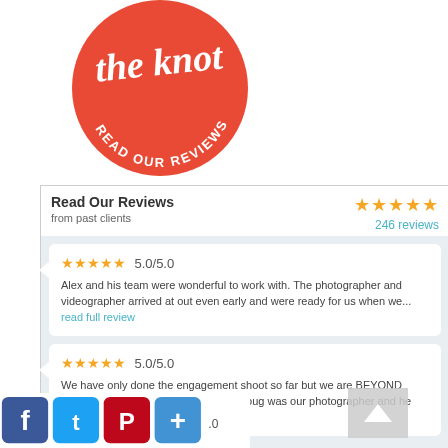[Figure (logo): The Knot 'Read Our Reviews' circular red logo badge with white script text]
Read Our Reviews
from past clients
246 reviews
5.0/5.0
Alex and his team were wonderful to work with. The photographer and videographer arrived at out even early and were ready for us when we... read full review
5.0/5.0
We have only done the engagement shoot so far but we are BEYOND amazed with Alex and his company. Doug was our photographer and he made... read full review
[Figure (infographic): Social sharing icons row: Facebook (blue), Twitter (light blue), Pinterest (dark red), Add/Plus (blue), followed by rating score 0]